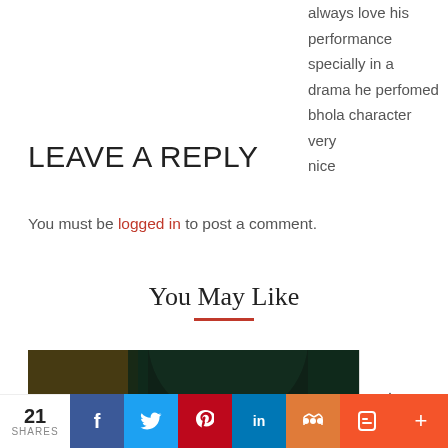always love his performance specially in a drama he perfomed bhola character very nice
LEAVE A REPLY
You must be logged in to post a comment.
You May Like
[Figure (photo): Dark dramatic portrait photo partially visible at bottom of page]
21 SHARES — social share buttons: Facebook, Twitter, Pinterest, LinkedIn, MyMeetup, Blogger, Plus